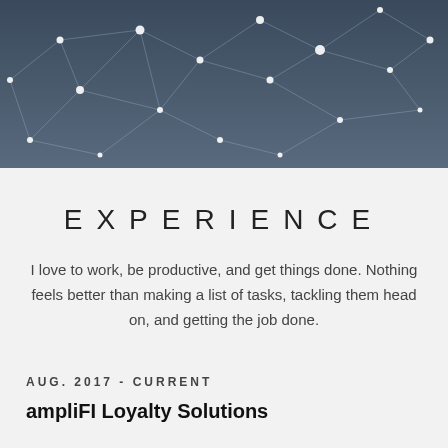[Figure (illustration): Dark blue/grey network graph background image with white dots connected by lines, resembling a digital network or constellation pattern]
EXPERIENCE
I love to work, be productive, and get things done. Nothing feels better than making a list of tasks, tackling them head on, and getting the job done.
AUG. 2017 - CURRENT
ampliFI Loyalty Solutions